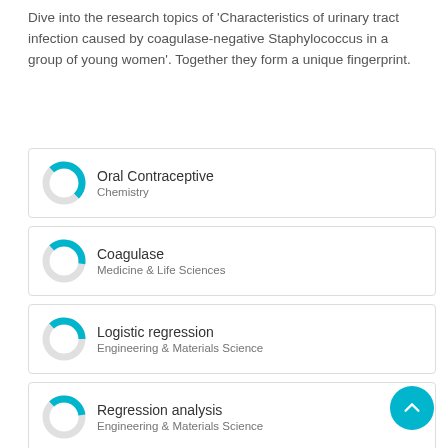Dive into the research topics of 'Characteristics of urinary tract infection caused by coagulase-negative Staphylococcus in a group of young women'. Together they form a unique fingerprint.
Oral Contraceptive — Chemistry
Coagulase — Medicine & Life Sciences
Logistic regression — Engineering & Materials Science
Regression analysis — Engineering & Materials Science
Staphylococcus — Medicine & Life Sciences